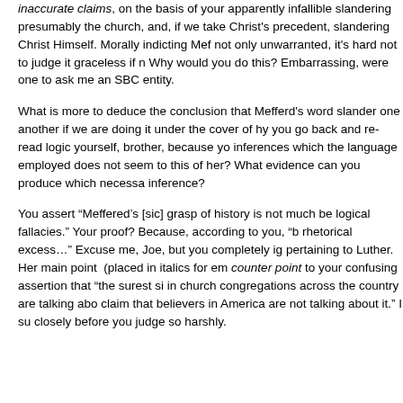inaccurate claims, on the basis of your apparently infallible slandering presumably the church, and, if we take Christ's precedent, slandering Christ Himself. Morally indicting Mef not only unwarranted, it's hard not to judge it graceless if n Why would you do this? Embarrassing, were one to ask me an SBC entity.
What is more to deduce the conclusion that Mefferd's word slander one another if we are doing it under the cover of hy you go back and re-read logic yourself, brother, because yo inferences which the language employed does not seem to this of her? What evidence can you produce which necessa inference?
You assert “Meffered’s [sic] grasp of history is not much be logical fallacies.” Your proof? Because, according to you, “b rhetorical excess…” Excuse me, Joe, but you completely ig pertaining to Luther. Her main point  (placed in italics for em counter point to your confusing assertion that “the surest si in church congregations across the country are talking abo claim that believers in America are not talking about it.” I su closely before you judge so harshly.